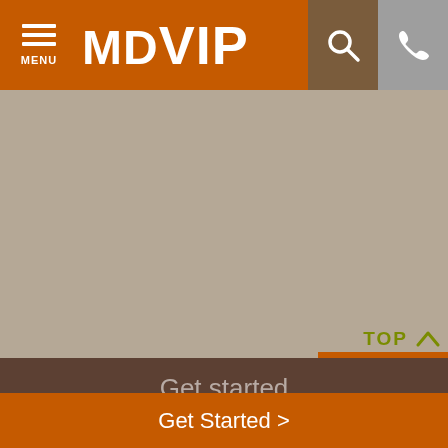MDVIP — MENU, Search, Phone
1.866.302.9346 or search for other nearby doctors currently accepting patients.
FIND NEARBY DOCTORS
TOP
Get started
Join Now  1.866.302.9346
Follow us
Get Started >